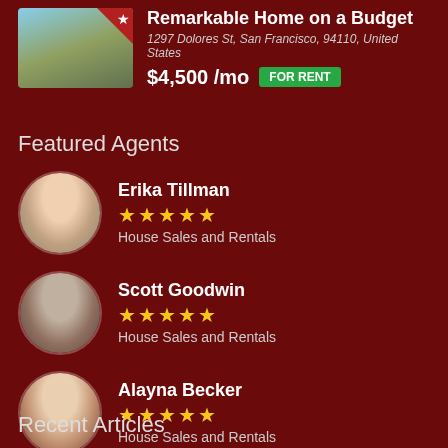[Figure (photo): Listing card showing a house photo with a red corner badge and star, titled 'Remarkable Home on a Budget' at 1297 Dolores St, San Francisco, 94110, United States, priced at $4,500 /mo with a green FOR RENT badge.]
Remarkable Home on a Budget
1297 Dolores St, San Francisco, 94110, United States
$4,500 /mo FOR RENT
Featured Agents
[Figure (photo): Circular avatar photo of Erika Tillman, a woman with long brown hair.]
Erika Tillman
★★★★★
House Sales and Rentals
[Figure (photo): Circular avatar photo of Scott Goodwin, a man in a suit and tie.]
Scott Goodwin
★★★★★
House Sales and Rentals
[Figure (photo): Circular avatar photo of Alayna Becker, a woman with dark hair.]
Alayna Becker
★★★★★
House Sales and Rentals
Recent Articles